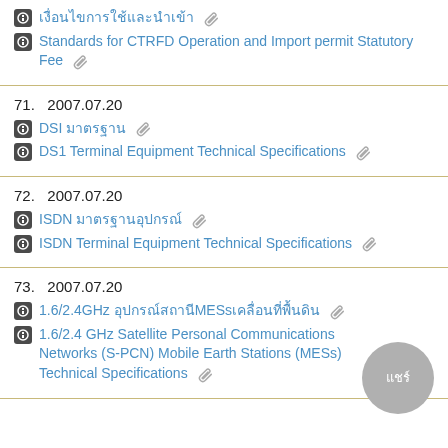[Thai text] Standards for CTRFD Operation and Import permit Statutory Fee
71. 2007.07.20 DSI [Thai] DS1 Terminal Equipment Technical Specifications
72. 2007.07.20 ISDN [Thai] ISDN Terminal Equipment Technical Specifications
73. 2007.07.20 1.6/2.4GHz [Thai]MESs[Thai] 1.6/2.4 GHz Satellite Personal Communications Networks (S-PCN) Mobile Earth Stations (MESs) Technical Specifications